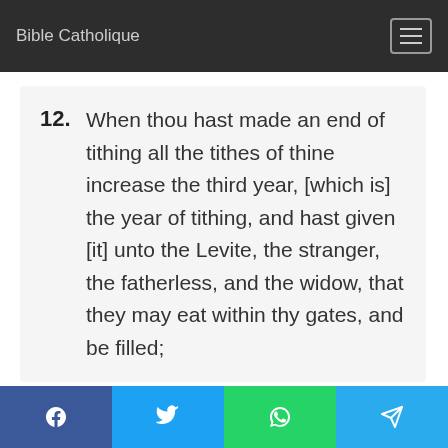Bible Catholique
12. When thou hast made an end of tithing all the tithes of thine increase the third year, [which is] the year of tithing, and hast given [it] unto the Levite, the stranger, the fatherless, and the widow, that they may eat within thy gates, and be filled;
13. Then thou shalt say before the LORD thy God, I have brought away the hallowed things out of [mine] house, and also
Facebook Twitter WhatsApp Telegram